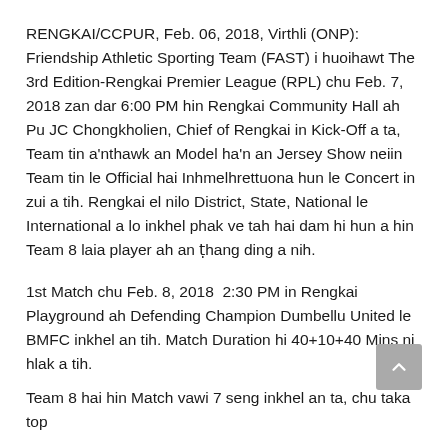RENGKAI/CCPUR, Feb. 06, 2018, Virthli (ONP): Friendship Athletic Sporting Team (FAST) i huoihawt The 3rd Edition-Rengkai Premier League (RPL) chu Feb. 7, 2018 zan dar 6:00 PM hin Rengkai Community Hall ah Pu JC Chongkholien, Chief of Rengkai in Kick-Off a ta, Team tin a'nthawk an Model ha'n an Jersey Show neiin Team tin le Official hai Inhmelhrettuona hun le Concert in zui a tih. Rengkai el nilo District, State, National le International a lo inkhel phak ve tah hai dam hi hun a hin Team 8 laia player ah an ṭhang ding a nih.
1st Match chu Feb. 8, 2018  2:30 PM in Rengkai Playground ah Defending Champion Dumbellu United le BMFC inkhel an tih. Match Duration hi 40+10+40 Mins ni hlak a tih.
Team 8 hai hin Match vawi 7 seng inkhel an ta, chu taka top